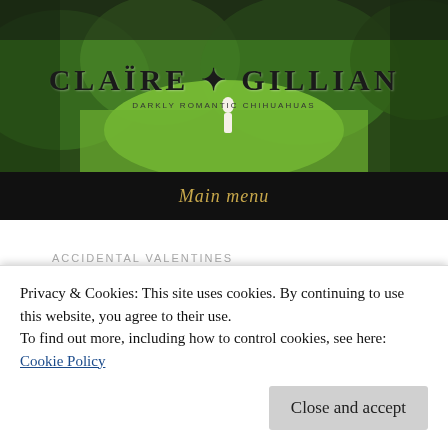[Figure (photo): Green nature/forest background with woman figure in white dress, site header image for Claire Gillian blog]
CLAIRE GILLIAN
DARKLY ROMANTIC CHIHUAHUAS
Main menu
ACCIDENTAL VALENTINES
Privacy & Cookies: This site uses cookies. By continuing to use this website, you agree to their use.
To find out more, including how to control cookies, see here:
Cookie Policy
Close and accept